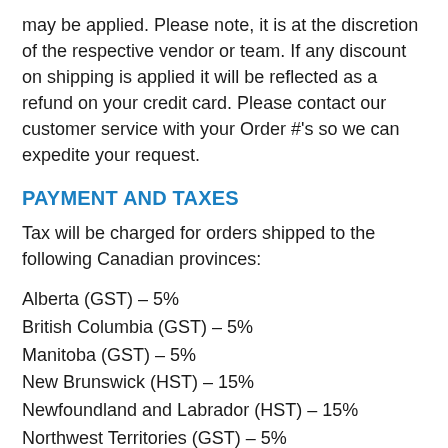may be applied. Please note, it is at the discretion of the respective vendor or team. If any discount on shipping is applied it will be reflected as a refund on your credit card. Please contact our customer service with your Order #'s so we can expedite your request.
PAYMENT AND TAXES
Tax will be charged for orders shipped to the following Canadian provinces:
Alberta (GST) – 5%
British Columbia (GST) – 5%
Manitoba (GST) – 5%
New Brunswick (HST) – 15%
Newfoundland and Labrador (HST) – 15%
Northwest Territories (GST) – 5%